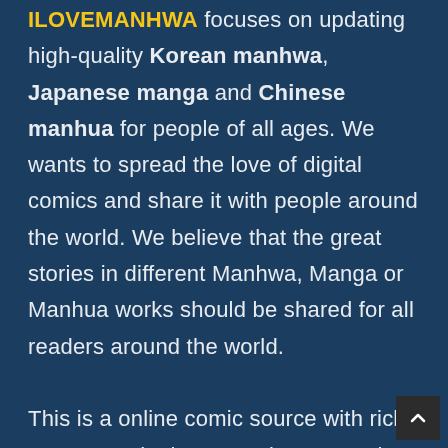ILOVEMANHWA focuses on updating high-quality Korean manhwa, Japanese manga and Chinese manhua for people of all ages. We wants to spread the love of digital comics and share it with people around the world. We believe that the great stories in different Manhwa, Manga or Manhua works should be shared for all readers around the world.

This is a online comic source with rich content and a large comic community worldwide. You can read thousands of comics online without spending a single of penny. We want people can read great comics online without paying any cost.

This is a platform that anyone can read free webtoons. So we anticipate our readers to be patient and wait...